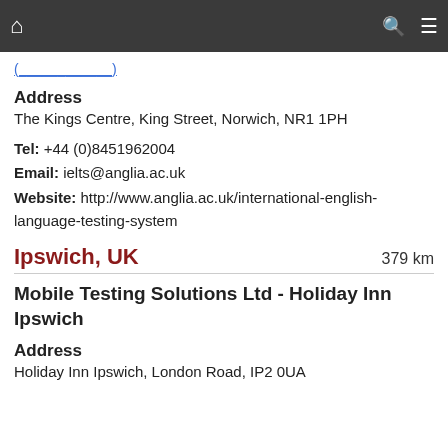Navigation bar with home, search, and menu icons
(link text partially visible)
Address
The Kings Centre, King Street, Norwich, NR1 1PH
Tel: +44 (0)8451962004
Email: ielts@anglia.ac.uk
Website: http://www.anglia.ac.uk/international-english-language-testing-system
Ipswich, UK
379 km
Mobile Testing Solutions Ltd - Holiday Inn Ipswich
Address
Holiday Inn Ipswich, London Road, IP2 0UA